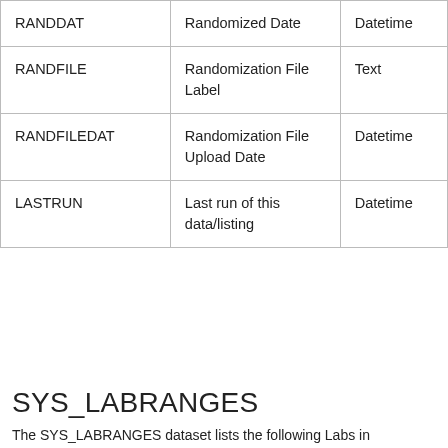| Column Header | Label | Type |  |
| --- | --- | --- | --- |
| RANDDAT | Randomized Date | Datetime | N |
| RANDFILE | Randomization File Label | Text | C |
| RANDFILEDAT | Randomization File Upload Date | Datetime | N |
| LASTRUN | Last run of this data/listing | Datetime | N |
SYS_LABRANGES
The SYS_LABRANGES dataset lists the following Labs in
| Column Header | Label | Type |
| --- | --- | --- |